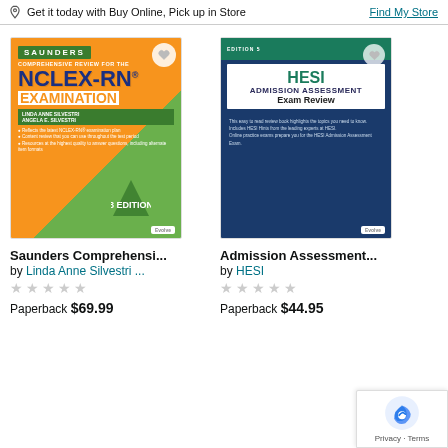Get it today with Buy Online, Pick up in Store
Find My Store
[Figure (photo): Book cover: Saunders Comprehensive Review for the NCLEX-RN Examination, 8th edition, by Linda Anne Silvestri and Angela E. Silvestri. Orange and green cover with blue title text.]
Saunders Comprehensi...
by Linda Anne Silvestri ...
★★★★★
Paperback $69.99
[Figure (photo): Book cover: HESI Admission Assessment Exam Review, 5th edition. Dark blue cover with green and white HESI title text, Evolve logo at bottom right.]
Admission Assessment...
by HESI
★★★★★
Paperback $44.95